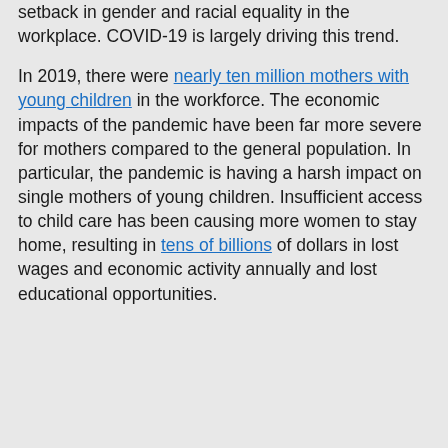setback in gender and racial equality in the workplace. COVID-19 is largely driving this trend.

In 2019, there were nearly ten million mothers with young children in the workforce. The economic impacts of the pandemic have been far more severe for mothers compared to the general population. In particular, the pandemic is having a harsh impact on single mothers of young children. Insufficient access to child care has been causing more women to stay home, resulting in tens of billions of dollars in lost wages and economic activity annually and lost educational opportunities.